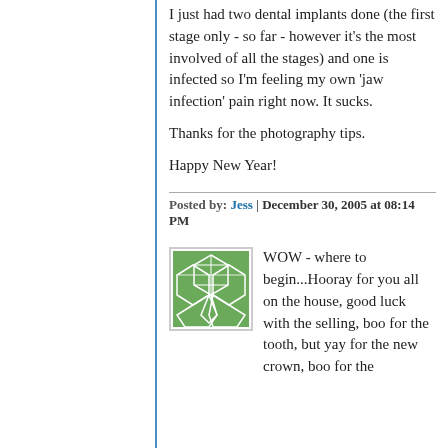I just had two dental implants done (the first stage only - so far - however it's the most involved of all the stages) and one is infected so I'm feeling my own 'jaw infection' pain right now. It sucks.

Thanks for the photography tips.

Happy New Year!
Posted by: Jess | December 30, 2005 at 08:14 PM
[Figure (illustration): Green avatar icon with abstract geometric/cellular pattern in white lines on a green background]
WOW - where to begin...Hooray for you all on the house, good luck with the selling, boo for the tooth, but yay for the new crown, boo for the